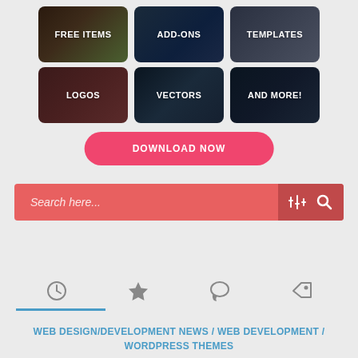[Figure (screenshot): Grid of 6 category buttons: FREE ITEMS, ADD-ONS, TEMPLATES, LOGOS, VECTORS, AND MORE! each with dark themed background images]
DOWNLOAD NOW
[Figure (screenshot): Search bar with salmon/coral background, placeholder text 'Search here...', filter icon and search icon on right]
[Figure (infographic): Four tab icons: clock/history, star/favorites, speech bubble/comments, tag/labels. Active tab underlined in blue.]
WEB DESIGN/DEVELOPMENT NEWS / WEB DEVELOPMENT / WORDPRESS THEMES